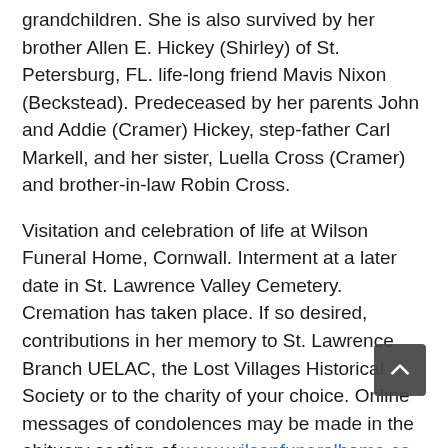grandchildren. She is also survived by her brother Allen E. Hickey (Shirley) of St. Petersburg, FL. life-long friend Mavis Nixon (Beckstead). Predeceased by her parents John and Addie (Cramer) Hickey, step-father Carl Markell, and her sister, Luella Cross (Cramer) and brother-in-law Robin Cross.
Visitation and celebration of life at Wilson Funeral Home, Cornwall. Interment at a later date in St. Lawrence Valley Cemetery. Cremation has taken place. If so desired, contributions in her memory to St. Lawrence Branch UELAC, the Lost Villages Historical Society or to the charity of your choice. Online messages of condolences may be made in the obituary section of www.wilsonfuneralhome.ca.
Peggy Barkley joined The St. Lawrence Branch 10 Feb. 1981 under application of John Hickey Sr.
...Lynne Cook, UE, St. Lawrence Branch